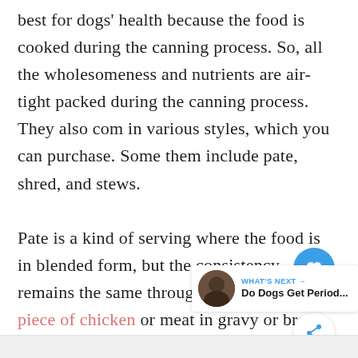best for dogs' health because the food is cooked during the canning process. So, all the wholesomeness and nutrients are air-tight packed during the canning process. They also com in various styles, which you can purchase. Some them include pate, shred, and stews.
Pate is a kind of serving where the food is in blended form, but the consistency remains the same throughout. Shreds are big piece of chicken or meat in gravy or broth. And the last one is stew.
[Figure (other): UI overlay elements: a blue circular heart/like button, a share button, a count of 1, and a 'What's Next' widget showing 'Do Dogs Get Period...' with a thumbnail]